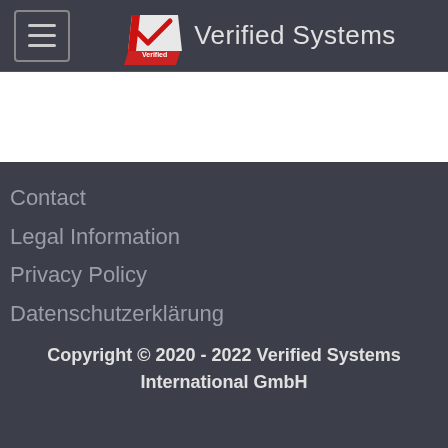[Figure (logo): Verified Systems logo with checkmark and brand name in header navigation bar]
Contact
Legal Information
Privacy Policy
Datenschutzerklärung
Copyright © 2020 - 2022 Verified Systems International GmbH